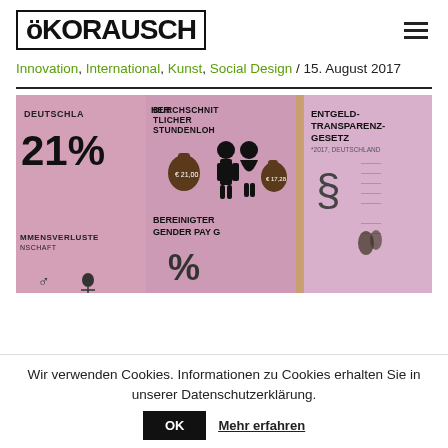ökoRAUSCH
Innovation, International, Kunst, Social Design / 15. August 2017
[Figure (photo): Exhibition display with pink/mauve info-graphic panels showing gender pay gap statistics: '21%', 'DURCHSCHNITTLICHER STUNDENLOHN', 'BEREINIGTER GENDER PAY GAP', 'EINMENSVERLUSTE', 'ENTGELD-TRANSPARENZ-GESETZ *2017, DEUTSCHLAND', 'EQUAL PAY ACT ISLAND']
Wir verwenden Cookies. Informationen zu Cookies erhalten Sie in unserer Datenschutzerklärung.
OK   Mehr erfahren